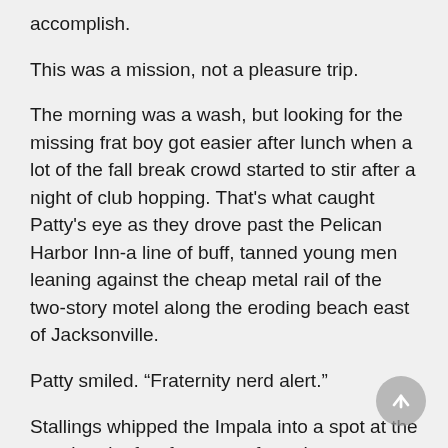accomplish.
This was a mission, not a pleasure trip.
The morning was a wash, but looking for the missing frat boy got easier after lunch when a lot of the fall break crowd started to stir after a night of club hopping. That’s what caught Patty’s eye as they drove past the Pelican Harbor Inn-a line of buff, tanned young men leaning against the cheap metal rail of the two-story motel along the eroding beach east of Jacksonville.
Patty smiled. “Fraternity nerd alert.”
Stallings whipped the Impala into a spot at the next hotel a few feet away from the